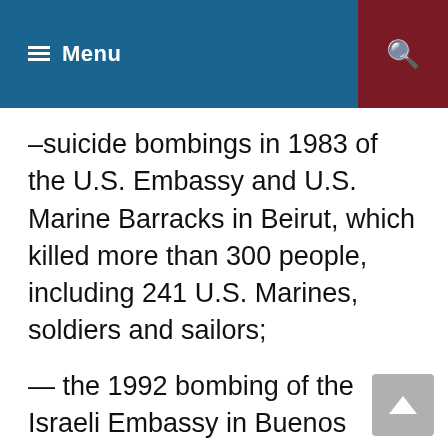Menu
–suicide bombings in 1983 of the U.S. Embassy and U.S. Marine Barracks in Beirut, which killed more than 300 people, including 241 U.S. Marines, soldiers and sailors;
— the 1992 bombing of the Israeli Embassy in Buenos Aires, which cost 29 lives;